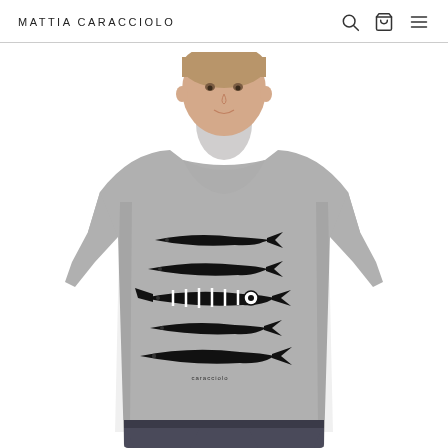MATTIA CARACCIOLO
[Figure (photo): E-commerce product page screenshot showing a young man wearing a grey t-shirt with a black graphic design of stacked fish (sardines/anchovies), one of which has a striped pattern standing out from the others. The Mattia Caracciolo brand header is visible at the top with search, cart, and menu icons.]